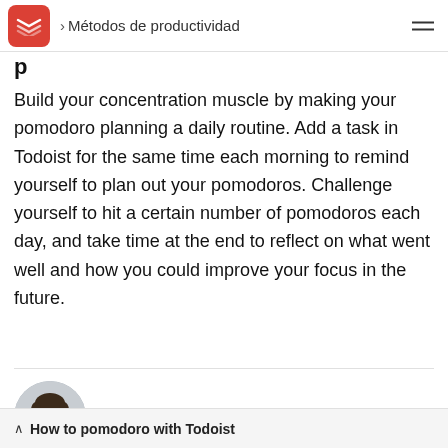> Métodos de productividad
Build your concentration muscle by making your pomodoro planning a daily routine. Add a task in Todoist for the same time each morning to remind yourself to plan out your pomodoros. Challenge yourself to hit a certain number of pomodoros each day, and take time at the end to reflect on what went well and how you could improve your focus in the future.
[Figure (photo): Circular avatar photo of a woman with dark hair, smiling, wearing an olive/green top]
^ How to pomodoro with Todoist